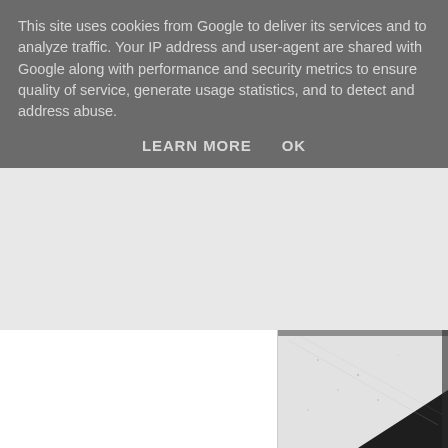This site uses cookies from Google to deliver its services and to analyze traffic. Your IP address and user-agent are shared with Google along with performance and security metrics to ensure quality of service, generate usage statistics, and to detect and address abuse.
LEARN MORE    OK
[Figure (photo): Black and white photo showing a concrete or stone surface at an angle with strong shadow contrast]
The conversation went on and as it developed it transformed from lig about Lotty's life and her story. Words that meant one thing a year a understanding of her narrative develops. Like the onion the layers pe
Words like 'safe' mean something more when you understand more within her developing understanding of the world she inhabits.